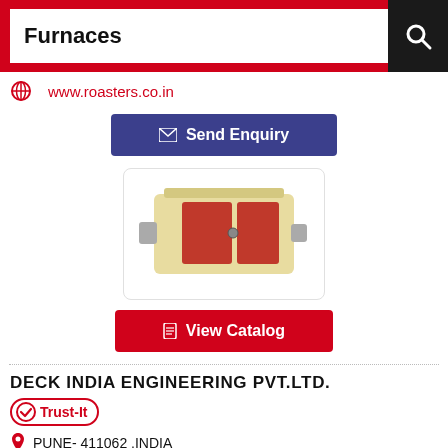Furnaces
www.roasters.co.in
[Figure (screenshot): Blue 'Send Enquiry' button with mail icon]
[Figure (photo): Industrial furnace product image — beige/cream metal box with red panel doors]
[Figure (screenshot): Red 'View Catalog' button with document icon]
DECK INDIA ENGINEERING PVT.LTD.
Trust-It
PUNE- 411062 ,INDIA
Contact Person: MR.D.K.SALUNKHE - DIRECTOR
Tel No. - 9822402717 / 9561065641 / 9561065642 /